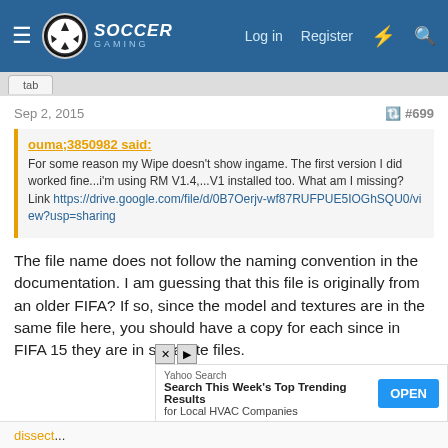Soccer Gaming — Log in  Register
Sep 2, 2015  #699
ouma;3850982 said:
For some reason my Wipe doesn't show ingame. The first version I did worked fine...i'm using RM V1.4,...V1 installed too. What am I missing?
Link https://drive.google.com/file/d/0B7Oerjv-wf87RUFPUE5IOGhSQU0/view?usp=sharing
The file name does not follow the naming convention in the documentation. I am guessing that this file is originally from an older FIFA? If so, since the model and textures are in the same file here, you should have a copy for each since in FIFA 15 they are in separate files.
Close X
[Figure (screenshot): Yahoo Search ad banner: 'Search This Week's Top Trending Results for Local HVAC Companies' with OPEN button]
dissect...